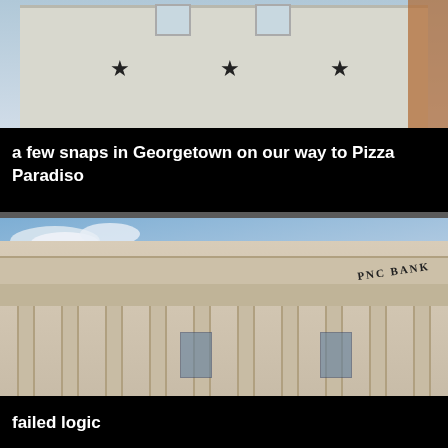[Figure (photo): Exterior of a white building facade with three decorative black star ornaments and two windows visible at the top, photographed from street level. Adjacent building in brick visible at right edge.]
a few snaps in Georgetown on our way to Pizza Paradiso
[Figure (photo): Neoclassical stone building facade with tall columns, ornate cornice, and the text 'PNC BANK' engraved on the frieze. Blue sky with clouds visible in background.]
failed logic